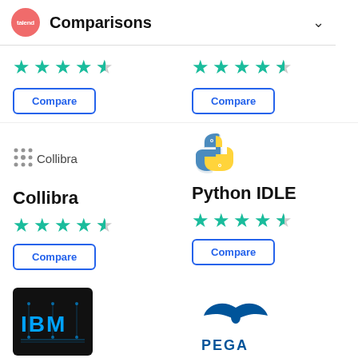Comparisons
[Figure (other): Star rating row (top-left), approximately 4.5 stars in teal]
[Figure (other): Compare button (top-left)]
[Figure (other): Star rating row (top-right), approximately 4.5 stars in teal]
[Figure (other): Compare button (top-right)]
[Figure (logo): Collibra logo (grid/snowflake icon + Collibra text)]
Collibra
[Figure (other): Collibra star rating, approximately 4.5 stars]
[Figure (other): Compare button for Collibra]
[Figure (logo): Python IDLE logo (Python snake icon, blue and yellow)]
Python IDLE
[Figure (other): Python IDLE star rating, approximately 4.5 stars]
[Figure (other): Compare button for Python IDLE]
[Figure (logo): IBM logo on black background]
[Figure (logo): PEGA logo with wing-like icon]